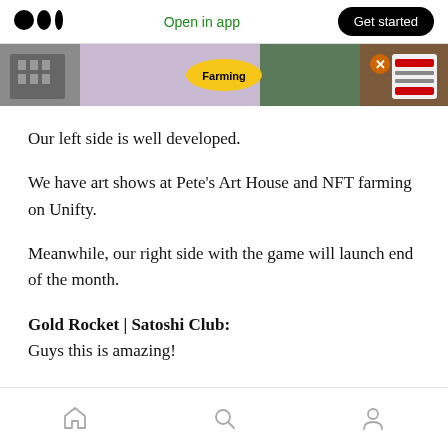Medium logo | Open in app | Get started
[Figure (screenshot): Banner image showing a game interface with 'Farming' label and colorful characters]
Our left side is well developed.
We have art shows at Pete’s Art House and NFT farming on Unifty.
Meanwhile, our right side with the game will launch end of the month.
Gold Rocket | Satoshi Club: Guys this is amazing!
Home | Search | Profile navigation icons